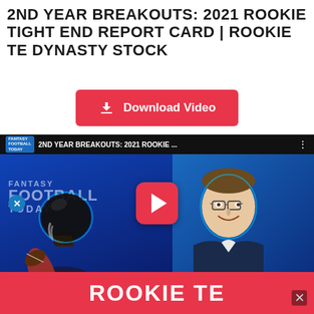2ND YEAR BREAKOUTS: 2021 ROOKIE TIGHT END REPORT CARD | ROOKIE TE DYNASTY STOCK
[Figure (screenshot): Red Download Video button with download icon]
[Figure (screenshot): YouTube video thumbnail showing Fantasy Football Today - 2ND YEAR BREAKOUTS: 2021 ROOKIE... with a football player in helmet holding a ball on the left, a smiling man in suit on the right, a red YouTube play button in the center, and a red banner reading ROOKIE TE at the bottom. There is a blue X close button on the left side and an X button on the bottom right.]